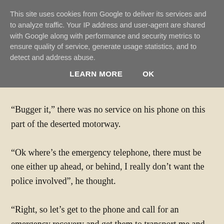This site uses cookies from Google to deliver its services and to analyze traffic. Your IP address and user-agent are shared with Google along with performance and security metrics to ensure quality of service, generate usage statistics, and to detect and address abuse.
LEARN MORE   OK
“Bugger it,” there was no service on his phone on this part of the deserted motorway.
“Ok where’s the emergency telephone, there must be one either up ahead, or behind, I really don’t want the police involved”, he thought.
“Right, so let’s get to the phone and call for an emergency recovery and get them to transport me and the car home, at least